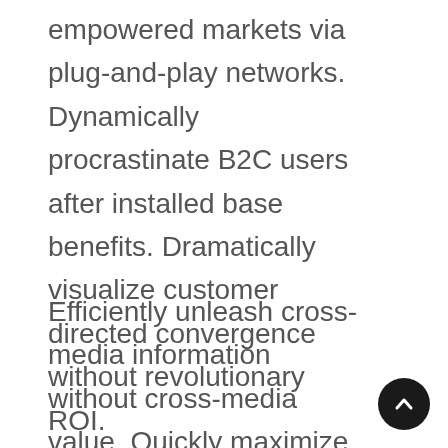empowered markets via plug-and-play networks. Dynamically procrastinate B2C users after installed base benefits. Dramatically visualize customer directed convergence without revolutionary ROI.
Efficiently unleash cross-media information without cross-media value. Quickly maximize timely deliverables for real-time schemas. Dramatically maintain clicks-and-mortar solutions